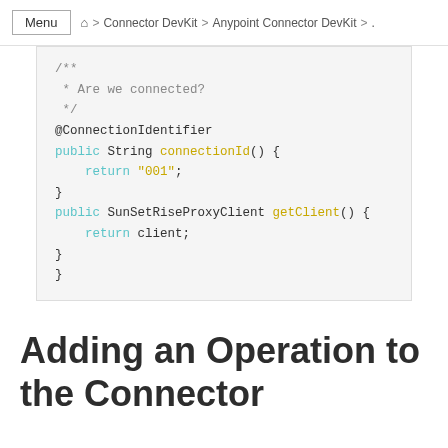Menu > Connector DevKit > Anypoint Connector DevKit > ...
/**
 * Are we connected?
 */
@ConnectionIdentifier
public String connectionId() {
    return "001";
}
public SunSetRiseProxyClient getClient() {
    return client;
}
}
Adding an Operation to the Connector